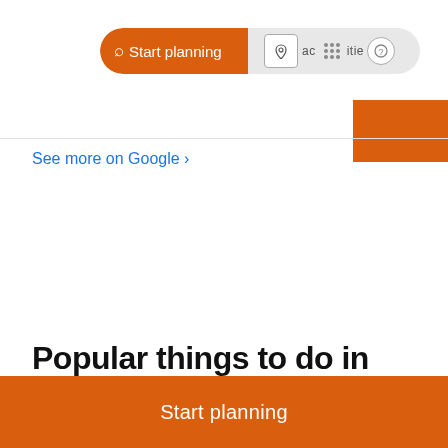Start planning  activities
See more on Google ›
Popular things to do in South Portland
[Figure (screenshot): Broken image placeholder labeled 'Spring Point Ledge Lighthouse' in blue link text]
Start planning